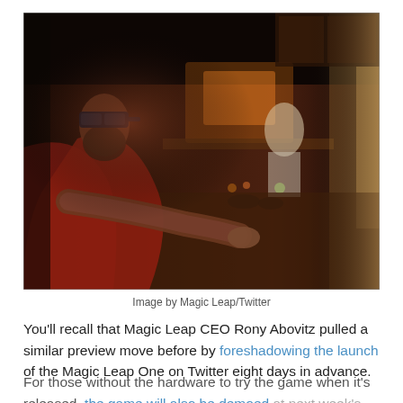[Figure (photo): A bearded man wearing augmented reality goggles (Magic Leap headset) sits at a table in a dimly lit room, interacting with objects on the table. Another person is visible in the background near a lit shelf.]
Image by Magic Leap/Twitter
You'll recall that Magic Leap CEO Rony Abovitz pulled a similar preview move before by foreshadowing the launch of the Magic Leap One on Twitter eight days in advance.
For those without the hardware to try the game when it's released, the game will also be demoed at next week's event, as Weta Workshop is leading two sessions about the game at the